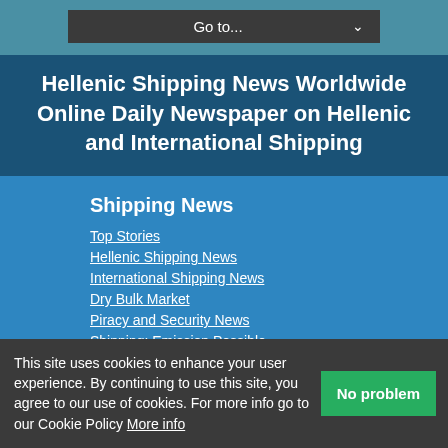Go to...
Hellenic Shipping News Worldwide Online Daily Newspaper on Hellenic and International Shipping
Shipping News
Top Stories
Hellenic Shipping News
International Shipping News
Dry Bulk Market
Piracy and Security News
Shipping: Emission Possible
Marine Insurance P&I Club News
Port News
Shipbuilding News
Shipping Law News
This site uses cookies to enhance your user experience. By continuing to use this site, you agree to our use of cookies. For more info go to our Cookie Policy More info